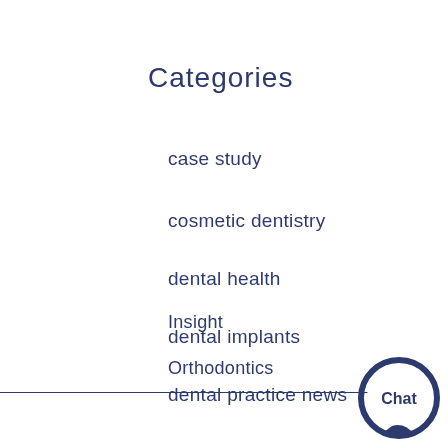Categories
case study
cosmetic dentistry
dental health
dental implants
dental practice news
Insight
Orthodontics
[Figure (logo): Chat bubble logo with 'Chat' text in dark navy blue, circular Q-shape with speech bubble tail, bottom right corner]